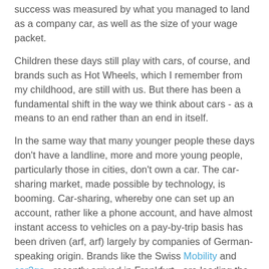success was measured by what you managed to land as a company car, as well as the size of your wage packet.
Children these days still play with cars, of course, and brands such as Hot Wheels, which I remember from my childhood, are still with us. But there has been a fundamental shift in the way we think about cars - as a means to an end rather than an end in itself.
In the same way that many younger people these days don't have a landline, more and more young people, particularly those in cities, don't own a car. The car-sharing market, made possible by technology, is booming. Car-sharing, whereby one can set up an account, rather like a phone account, and have almost instant access to vehicles on a pay-by-trip basis has been driven (arf, arf) largely by companies of German-speaking origin. Brands like the Swiss Mobility and car2go - recently arrived in Frankfurt - are leading the way.
As trends go, Car-sharing ticks plenty of boxes. There's the meshing of the real and virtual world, the sharing economy...